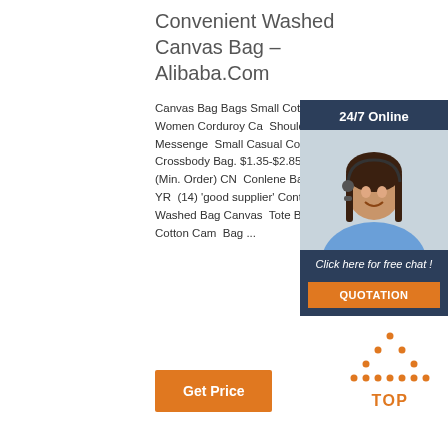Convenient Washed Canvas Bag – Alibaba.Com
Canvas Bag Bags Small Cotton Custom Women Corduroy Canvas Shoulder Bag Eco Messenger Small Casual Cotton Canvas Crossbody Bag. $1.35-$2.85 100 Pieces (Min. Order) CN Conlene Bags Co., Ltd. 14 YR (14) 'good supplier' Contact S Ad. 1/6. Washed Bag Canvas Tote Big Washed Cotton Canvas Bag ...
[Figure (illustration): Chat widget overlay with dark blue background showing '24/7 Online' header, agent photo of woman with headset, 'Click here for free chat!' text, and orange QUOTATION button]
[Figure (other): Orange dotted triangle 'TOP' icon in bottom right corner]
Get Price